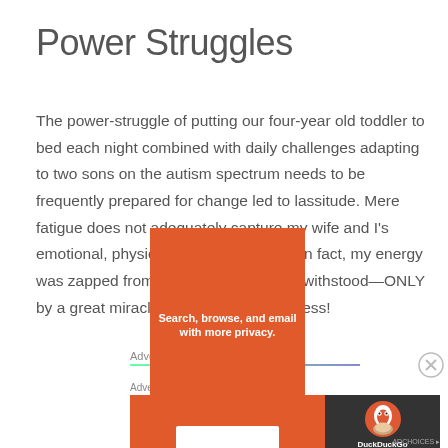Power Struggles
The power-struggle of putting our four-year old toddler to bed each night combined with daily challenges adapting to two sons on the autism spectrum needs to be frequently prepared for change led to lassitude. Mere fatigue does not adequately capture my wife and I's emotional, physical, and mental state. In fact, my energy was zapped from me and it felt like we withstood—ONLY by a great miracle—a tsunami of tiredness!
Advertisements
Advertisements
[Figure (other): DuckDuckGo advertisement banner: orange left panel with text 'Search, browse, and email with more privacy. All in One Free App', dark right panel with DuckDuckGo duck logo and text 'DuckDuckGo']
ADCHOICES